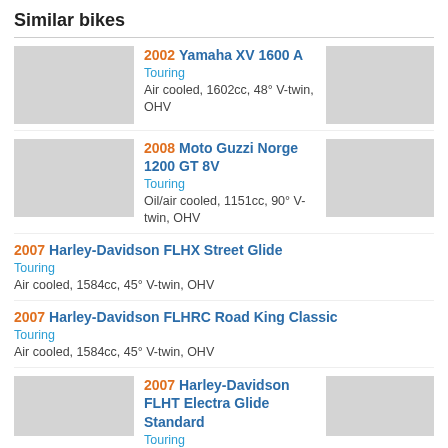Similar bikes
2002 Yamaha XV 1600 A
Touring
Air cooled, 1602cc, 48° V-twin, OHV
2008 Moto Guzzi Norge 1200 GT 8V
Touring
Oil/air cooled, 1151cc, 90° V-twin, OHV
2007 Harley-Davidson FLHX Street Glide
Touring
Air cooled, 1584cc, 45° V-twin, OHV
2007 Harley-Davidson FLHRC Road King Classic
Touring
Air cooled, 1584cc, 45° V-twin, OHV
2007 Harley-Davidson FLHT Electra Glide Standard
Touring
Air cooled, 1584cc, 45° V-twin, OHV